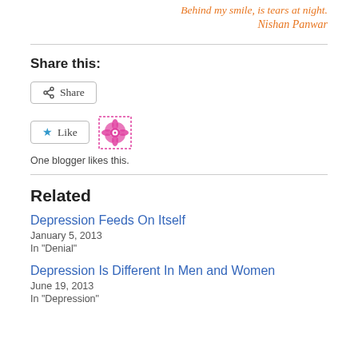Behind my smile, is tears at night.
Nishan Panwar
Share this:
[Figure (other): Share button with share icon]
[Figure (other): Like button with star icon and decorative flower avatar]
One blogger likes this.
Related
Depression Feeds On Itself
January 5, 2013
In "Denial"
Depression Is Different In Men and Women
June 19, 2013
In "Depression"